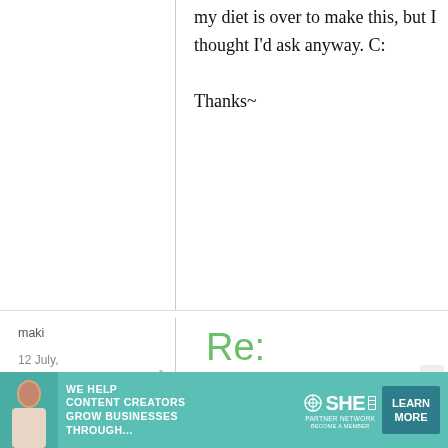my diet is over to make this, but I thought I'd ask anyway. C: Thanks~
maki
12 July, 2012 - 13:30
permalink
Re: Japanese beef curry (Curry Rice)
[Figure (other): SHE media partner network advertisement banner with learn more button]